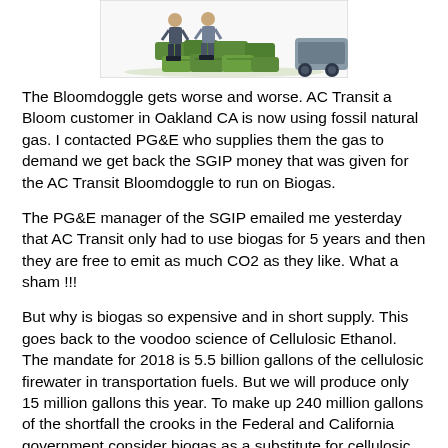[Figure (illustration): Illustration showing two people standing near a large pile of green cash/money bales, with a vehicle or cart partially visible on the right side.]
The Bloomdoggle gets worse and worse. AC Transit a Bloom customer in Oakland CA is now using fossil natural gas. I contacted PG&E who supplies them the gas to demand we get back the SGIP money that was given for the AC Transit Bloomdoggle to run on Biogas.
The PG&E manager of the SGIP emailed me yesterday that AC Transit only had to use biogas for 5 years and then they are free to emit as much CO2 as they like. What a sham !!!
But why is biogas so expensive and in short supply. This goes back to the voodoo science of Cellulosic Ethanol. The mandate for 2018 is 5.5 billion gallons of the cellulosic firewater in transportation fuels. But we will produce only 15 million gallons this year. To make up 240 million gallons of the shortfall the crooks in the Federal and California government consider biogas as a substitute for cellulosic ethanol if it is used in vehicles.